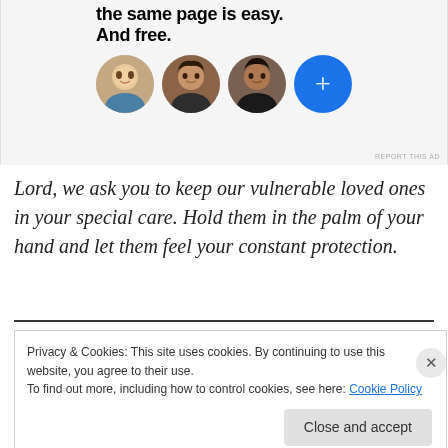[Figure (screenshot): Advertisement banner with bold text 'the same page is easy. And free.' and three circular avatar photos plus a blue circle with a plus sign]
REPORT THIS AD
Lord, we ask you to keep our vulnerable loved ones in your special care. Hold them in the palm of your hand and let them feel your constant protection.
Privacy & Cookies: This site uses cookies. By continuing to use this website, you agree to their use.
To find out more, including how to control cookies, see here: Cookie Policy
Close and accept